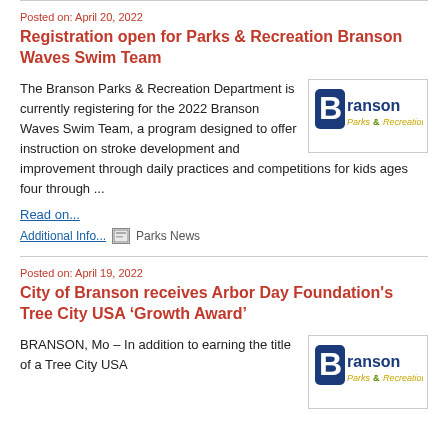Posted on: April 20, 2022
Registration open for Parks & Recreation Branson Waves Swim Team
[Figure (logo): Branson Parks & Recreation logo with stylized 'B' and text 'ranson Parks & Recreation']
The Branson Parks & Recreation Department is currently registering for the 2022 Branson Waves Swim Team, a program designed to offer instruction on stroke development and improvement through daily practices and competitions for kids ages four through ...
Read on...
Additional Info...  Parks News
Posted on: April 19, 2022
City of Branson receives Arbor Day Foundation's Tree City USA 'Growth Award'
[Figure (logo): Branson Parks & Recreation logo with stylized 'B' and text 'ranson Parks & Recreation']
BRANSON, Mo – In addition to earning the title of a Tree City USA